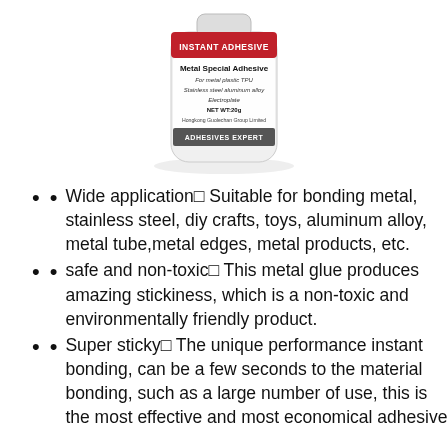[Figure (photo): A white bottle of Metal Special Adhesive instant adhesive with a red label at the top reading 'INSTANT ADHESIVE', product details including 'Metal Special Adhesive', 'For metal plastic TPU', 'Stainless steel aluminum alloy', 'Electroplate', 'NET WT:20g', 'Hongkong Guolechan Group Limited', and a dark banner at the bottom reading 'ADHESIVES EXPERT'. The bottle has a shadow/reflection underneath.]
Wide application□ Suitable for bonding metal, stainless steel, diy crafts, toys, aluminum alloy, metal tube,metal edges, metal products, etc.
safe and non-toxic□ This metal glue produces amazing stickiness, which is a non-toxic and environmentally friendly product.
Super sticky□ The unique performance instant bonding, can be a few seconds to the material bonding, such as a large number of use, this is the most effective and most economical adhesive